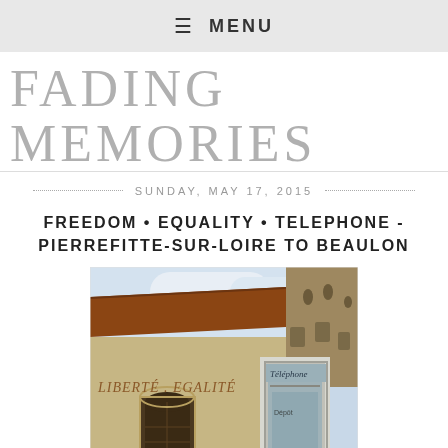≡ MENU
FADING MEMORIES
SUNDAY, MAY 17, 2015
FREEDOM • EQUALITY • TELEPHONE - PIERREFITTE-SUR-LOIRE TO BEAULON
[Figure (photo): Exterior wall of a stone building with faded inscription 'LIBERTE. EGALITE' painted on it, with an arched window and a phone booth (marked 'Téléphone') attached to the right side. Red/brown tiled roof visible at top, blue sky in background.]